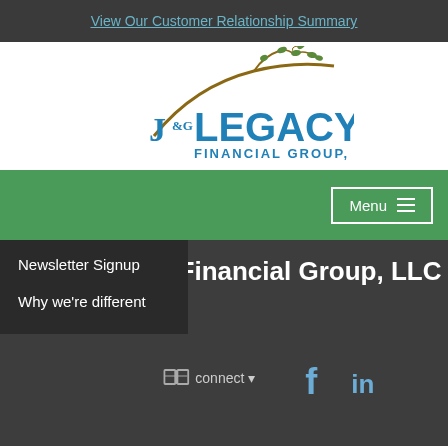View Our Customer Relationship Summary
[Figure (logo): J&G Legacy Financial Group, LLC logo with tree branch graphic above the text]
[Figure (screenshot): Green navigation bar with Menu button (hamburger icon) on the right, and a dark dropdown menu showing Newsletter Signup and Why we're different options]
J & G Legacy Financial Group, LLC
[Figure (infographic): Connect icon with dropdown arrow and social media icons for Facebook and LinkedIn]